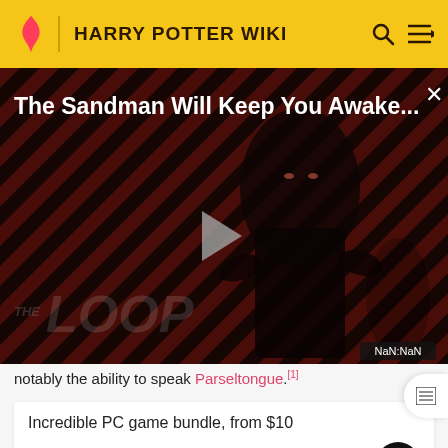HARRY POTTER WIKI
[Figure (screenshot): Video player showing 'The Sandman Will Keep You Awake...' promo with a dark figure against diagonal red and black stripes. THE LOOP branding visible. Play button in center. NaN:NaN timer shown. Close X button top right.]
notably the ability to speak Parseltongue.[1]
Incredible PC game bundle, from $10
BUY FROM FANATICAL